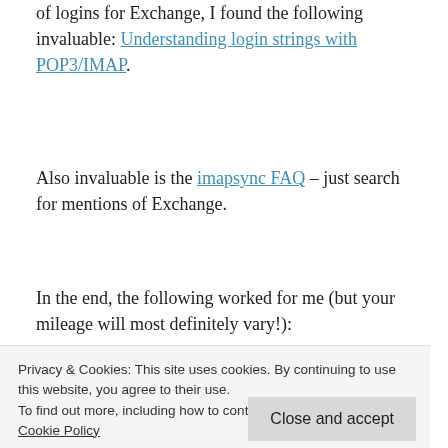of logins for Exchange, I found the following invaluable: Understanding login strings with POP3/IMAP.
Also invaluable is the imapsync FAQ – just search for mentions of Exchange.
In the end, the following worked for me (but your mileage will most definitely vary!):
[Figure (screenshot): Code block box, partially visible, showing a command with --password1 userpassword at the bottom]
Privacy & Cookies: This site uses cookies. By continuing to use this website, you agree to their use.
To find out more, including how to control cookies, see here:
Cookie Policy